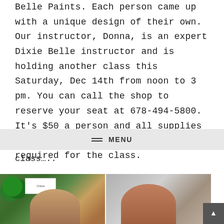Belle Paints. Each person came up with a unique design of their own. Our instructor, Donna, is an expert Dixie Belle instructor and is holding another class this Saturday, Dec 14th from noon to 3 pm. You can call the shop to reserve your seat at 678-494-5800. It's $50 a person and all supplies are included. Reservations are required for the class.
MENU
class…..
[Figure (photo): Two side-by-side photos showing people at a craft/paint class. Left photo shows a woman near a Christmas tree with a Cricut sign visible. Right photo shows a woman with red/auburn hair near dark furniture or cabinets.]